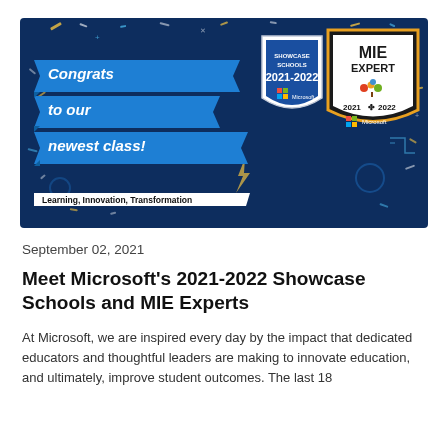[Figure (illustration): Microsoft Showcase Schools 2021-2022 and MIE Expert 2021-2022 promotional banner with text 'Congrats to our newest class!' and tagline 'Learning, Innovation, Transformation' on a dark navy background with decorative confetti elements.]
September 02, 2021
Meet Microsoft's 2021-2022 Showcase Schools and MIE Experts
At Microsoft, we are inspired every day by the impact that dedicated educators and thoughtful leaders are making to innovate education, and ultimately, improve student outcomes. The last 18